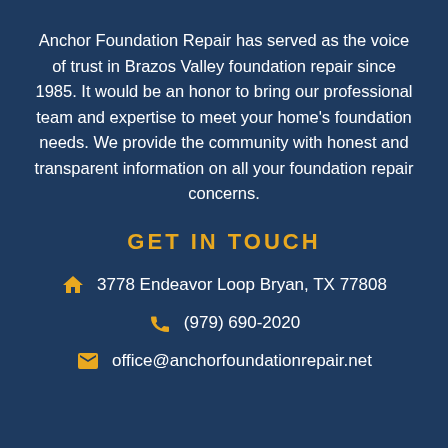Anchor Foundation Repair has served as the voice of trust in Brazos Valley foundation repair since 1985. It would be an honor to bring our professional team and expertise to meet your home's foundation needs. We provide the community with honest and transparent information on all your foundation repair concerns.
GET IN TOUCH
3778 Endeavor Loop Bryan, TX 77808
(979) 690-2020
office@anchorfoundationrepair.net